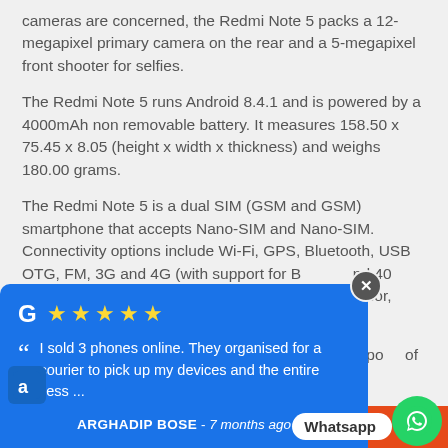cameras are concerned, the Redmi Note 5 packs a 12-megapixel primary camera on the rear and a 5-megapixel front shooter for selfies.
The Redmi Note 5 runs Android 8.4.1 and is powered by a 4000mAh non removable battery. It measures 158.50 x 75.45 x 8.05 (height x width x thickness) and weighs 180.00 grams.
The Redmi Note 5 is a dual SIM (GSM and GSM) smartphone that accepts Nano-SIM and Nano-SIM. Connectivity options include Wi-Fi, GPS, Bluetooth, USB OTG, FM, 3G and 4G (with support for Band 40 used by the phone include sor, Accelerometer, in di po of
[Figure (other): Google review popup overlay with 5 yellow stars, Google G logo, review text 'I sold 3 phones online. They organised for a courier to pick up my devices and the entire process ...' by ARGHADIP BOSE - 7 months ago, on blue background. Includes a close X button, an Arzopa logo bottom-left, and a WhatsApp button on the orange bar at the bottom.]